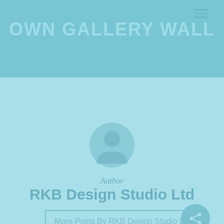OWN GALLERY WALL
[Figure (illustration): Circular avatar/profile icon placeholder in light blue tones]
Author
RKB Design Studio Ltd
More Posts By RKB Design Studio Ltd